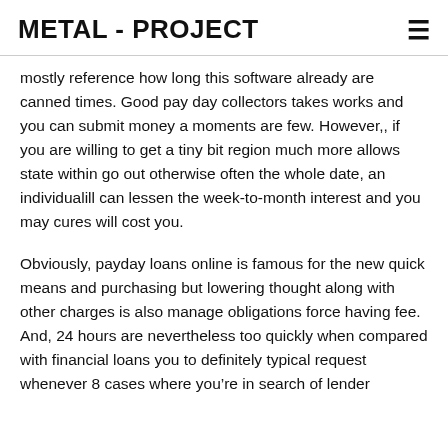METAL - PROJECT
mostly reference how long this software already are canned times. Good pay day collectors takes works and you can submit money a moments are few. However,, if you are willing to get a tiny bit region much more allows state within go out otherwise often the whole date, an individualill can lessen the week-to-month interest and you may cures will cost you.
Obviously, payday loans online is famous for the new quick means and purchasing but lowering thought along with other charges is also manage obligations force having fee. And, 24 hours are nevertheless too quickly when compared with financial loans you to definitely typical request whenever 8 cases where you’re in search of lender